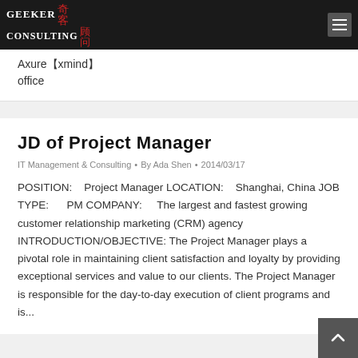Geeker Consulting
Axure【xmind】office
JD of Project Manager
IT Management & Consulting • By Ada Shen • 2014/03/17
POSITION: Project Manager LOCATION: Shanghai, China JOB TYPE: PM COMPANY: The largest and fastest growing customer relationship marketing (CRM) agency INTRODUCTION/OBJECTIVE: The Project Manager plays a pivotal role in maintaining client satisfaction and loyalty by providing exceptional services and value to our clients. The Project Manager is responsible for the day-to-day execution of client programs and is...